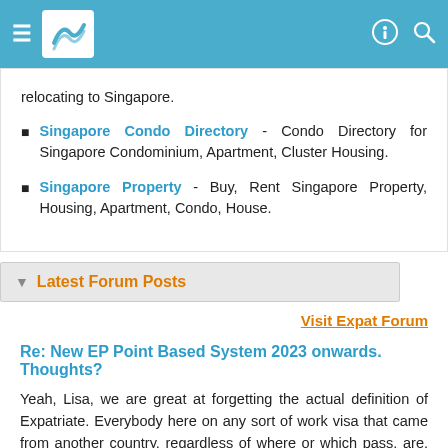Navigation header with logo and icons
relocating to Singapore.
Singapore Condo Directory - Condo Directory for Singapore Condominium, Apartment, Cluster Housing.
Singapore Property - Buy, Rent Singapore Property, Housing, Apartment, Condo, House.
▼ Latest Forum Posts
Visit Expat Forum
Re: New EP Point Based System 2023 onwards. Thoughts?
Yeah, Lisa, we are great at forgetting the actual definition of Expatriate. Everybody here on any sort of work visa that came from another country, regardless of where or which pass, are, by definition, Expatriates unless of course they are Malaysians who drive across the causeway daily.